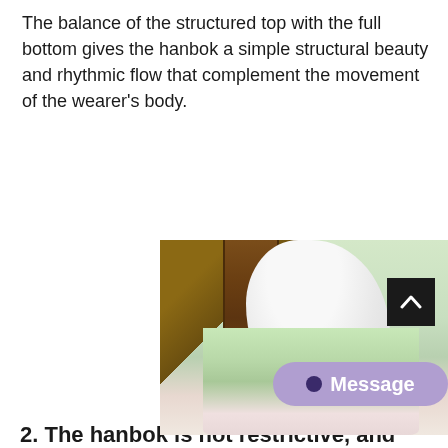The balance of the structured top with the full bottom gives the hanbok a simple structural beauty and rhythmic flow that complement the movement of the wearer's body.
[Figure (photo): Close-up photograph of a person wearing a hanbok (traditional Korean garment), showing white top and light green flowing skirt, seated near a wooden carved chair. A dark scroll-to-top button with an upward chevron is overlaid in the top-right corner of the image.]
2. The hanbok is not restrictive, and